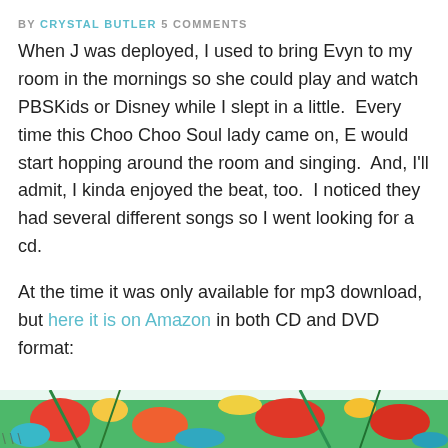BY CRYSTAL BUTLER 5 COMMENTS
When J was deployed, I used to bring Evyn to my room in the mornings so she could play and watch PBSKids or Disney while I slept in a little.  Every time this Choo Choo Soul lady came on, E would start hopping around the room and singing.  And, I'll admit, I kinda enjoyed the beat, too.  I noticed they had several different songs so I went looking for a cd.
At the time it was only available for mp3 download, but here it is on Amazon in both CD and DVD format:
[Figure (photo): Colorful illustrated image, partially visible at the bottom of the page, showing tropical or decorative art motifs in bright colors.]